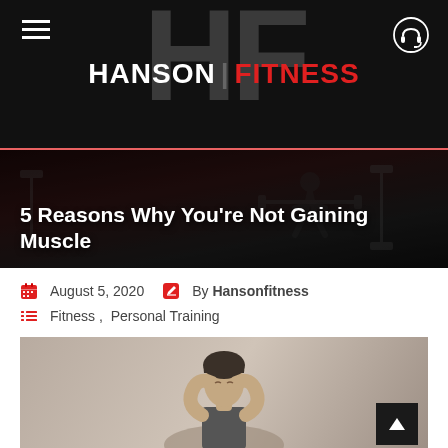HANSON FITNESS
5 Reasons Why You're Not Gaining Muscle
August 5, 2020  By Hansonfitness  Fitness , Personal Training